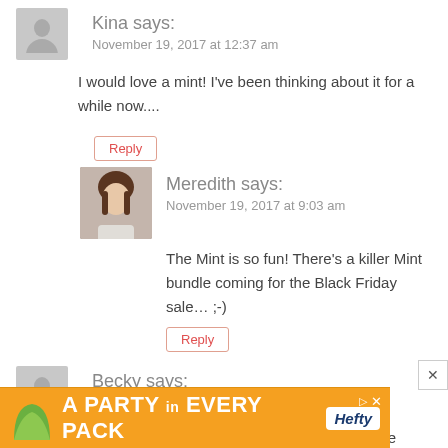Kina says:
November 19, 2017 at 12:37 am
I would love a mint! I've been thinking about it for a while now....
Reply
[Figure (photo): Profile photo of Meredith - woman with brown hair]
Meredith says:
November 19, 2017 at 9:03 am
The Mint is so fun! There's a killer Mint bundle coming for the Black Friday sale… ;-)
Reply
Becky says:
November 19, 2017 at 9:42 am
I'm SO excited about this sale, signed up for the email. Perfect timing since I just asked for one for Christmas
[Figure (infographic): Orange Hefty advertisement banner: A PARTY in EVERY PACK]